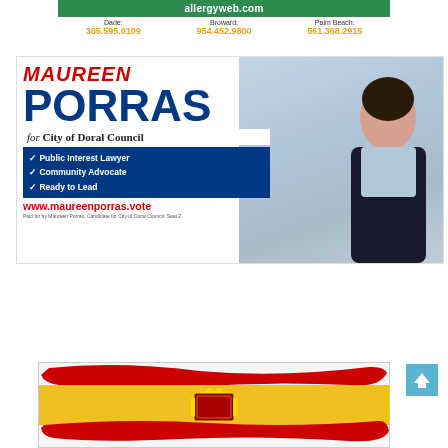[Figure (infographic): Green bar with allergyweb.com, with phone numbers for Dade: 305.595.0109, Broward: 954.452.9800, Palm Beach: 561.368.2915 in gold]
[Figure (infographic): Maureen Porras for City of Doral Council political campaign advertisement with photo of candidate. Lists: Public Interest Lawyer, Community Advocate, Ready to Lead. Website: www.maureenporras.vote. Paid for by Maureen Porras, Candidate for City of Doral Council, Seat 2]
[Figure (illustration): Spain flag brushstroke illustration in red, yellow, and red stripes with coat of arms]